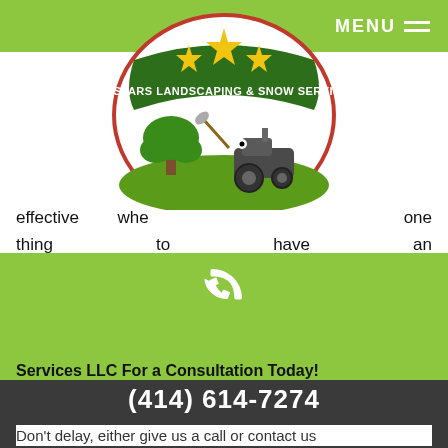[Figure (logo): Tri Stars Landscaping & Snow Services LLC circular logo with green banner, stars, tree and tractor cartoon illustration]
effective when… one thing to have an idea… would look, but if you're not sk… what was the purpose of the plan to begin with?
Our work isn't over once the last plant has been put in the ground. We offer year-round maintenance catered to your needs and schedule, so a year from now your lawn will still look as good as it did on day one.
Services LLC For a Consultation Today!
(414) 614-7274
Don't delay, either give us a call or contact us